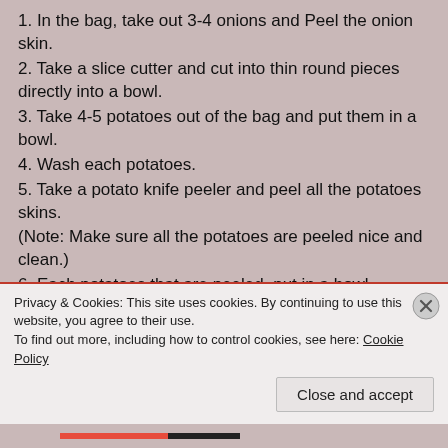1. In the bag, take out 3-4 onions and Peel the onion skin.
2. Take a slice cutter and cut into thin round pieces directly into a bowl.
3. Take 4-5 potatoes out of the bag and put them in a bowl.
4. Wash each potatoes.
5. Take a potato knife peeler and peel all the potatoes skins.
(Note: Make sure all the potatoes are peeled nice and clean.)
6. Each potatoes that are peeled, put in a bowl.
7. When they are all finished peeling. Soak all the potatoes in the bowl for 2-3 minutes.
Privacy & Cookies: This site uses cookies. By continuing to use this website, you agree to their use. To find out more, including how to control cookies, see here: Cookie Policy
Close and accept